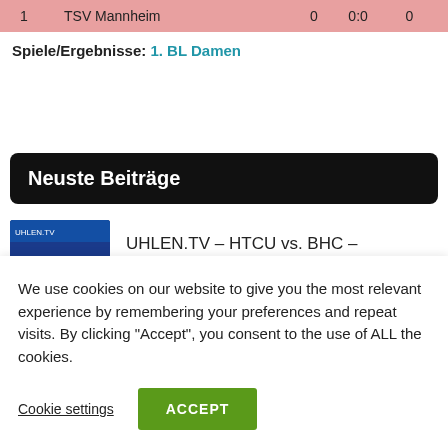|  | Team |  |  |  |  |
| --- | --- | --- | --- | --- | --- |
| 1 | TSV Mannheim |  | 0 | 0:0 | 0 |
Spiele/Ergebnisse: 1. BL Damen
Neuste Beiträge
[Figure (photo): Thumbnail image showing HTCU vs BHC hockey game broadcast graphic]
UHLEN.TV – HTCU vs. BHC – 03.09.2022 14:30 h
We use cookies on our website to give you the most relevant experience by remembering your preferences and repeat visits. By clicking "Accept", you consent to the use of ALL the cookies.
Cookie settings
ACCEPT